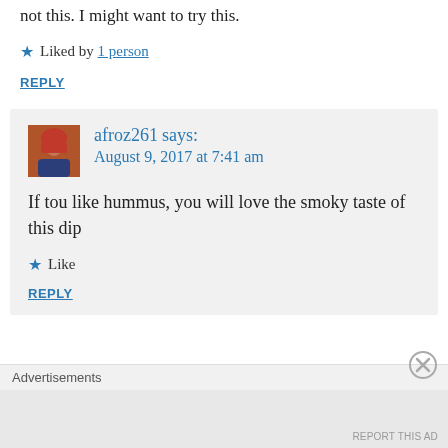not this. I might want to try this.
★ Liked by 1 person
REPLY
afroz261 says:
August 9, 2017 at 7:41 am
If tou like hummus, you will love the smoky taste of this dip
★ Like
REPLY
Advertisements